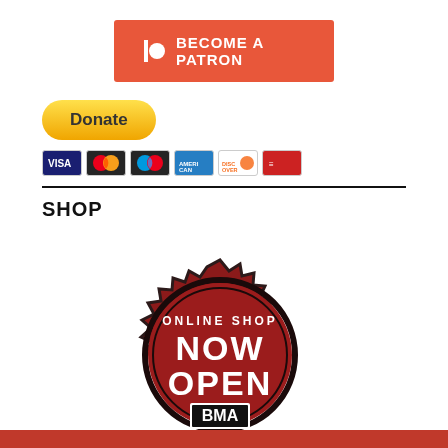[Figure (logo): Patreon 'Become a Patron' button with Patreon icon on coral/red-orange background]
[Figure (other): PayPal Donate button with credit card icons (Visa, Mastercard, American Express, Discover, and another card)]
SHOP
[Figure (logo): BMA Online Shop Now Open seal/badge in dark red with gear-like border, text reads: ONLINE SHOP NOW OPEN BMA]